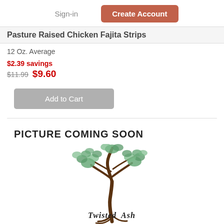Sign-in | Create Account
Pasture Raised Chicken Fajita Strips
12 Oz. Average
$2.39 savings
$11.99 $9.60
Add to Cart
[Figure (logo): Twisted Ash logo with a decorative tree and cursive text reading 'Twisted Ash']
PICTURE COMING SOON